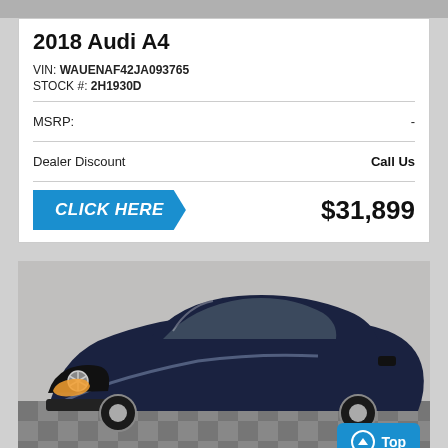2018 Audi A4
VIN: WAUENAF42JA093765
STOCK #: 2H1930D
|  |  |
| --- | --- |
| MSRP: | - |
| Dealer Discount | Call Us |
CLICK HERE    $31,899
[Figure (photo): Blue Mercedes-Benz sedan parked indoors on a checkered floor, front three-quarter view. A 'Top' button and 'LEXUS' banner visible in the lower portion.]